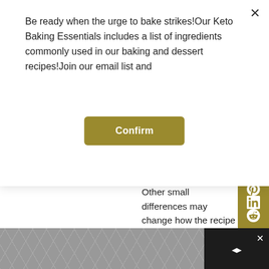Be ready when the urge to bake strikes!Our Keto Baking Essentials includes a list of ingredients commonly used in our baking and dessert recipes!Join our email list and
Confirm
Other small differences may change how the recipe works. -Annissa
REPLY
Lisa on November 13, 2018 at 1:28 pm
Hi can I use equal amount of